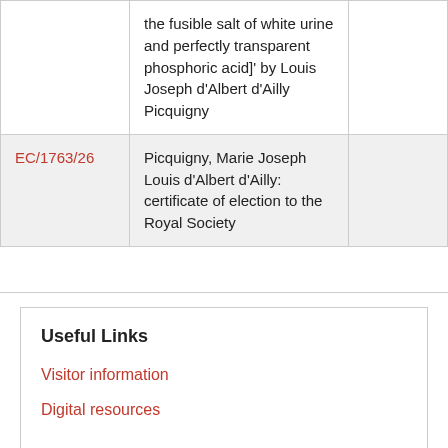|  |  |  |
| --- | --- | --- |
|  | the fusible salt of white urine and perfectly transparent phosphoric acid]' by Louis Joseph d'Albert d'Ailly Picquigny |  |
| EC/1763/26 | Picquigny, Marie Joseph Louis d'Albert d'Ailly: certificate of election to the Royal Society |  |
Useful Links
Visitor information
Digital resources